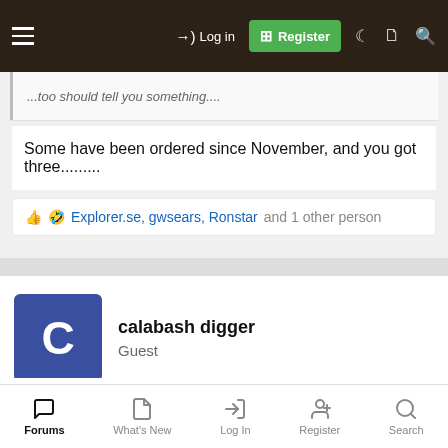Log in | Register
...too should tell you something....
Some have been ordered since November, and you got three.........
👍 🤣 Explorer.se, gwsears, Ronstar and 1 other person
calabash digger
Guest
Jan 12, 2022  #32
Yes I did...Bought and paid for. Actually if you want to figure in my time and travels to video the first unit they sent me. I actually bought and paid full price for all the units I got....So enough of the he's paid rhetoric.    I have tried to bring factual videos of how the unit
Forums | What's New | Log In | Register | Search